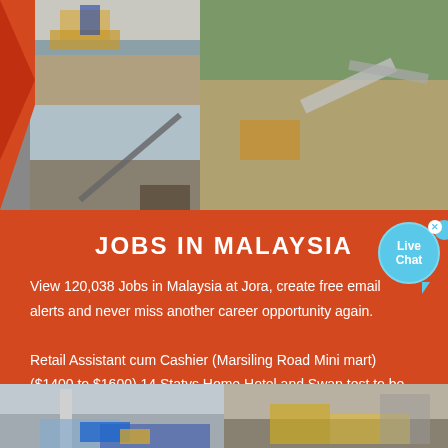[Figure (photo): Top collage of quarry/mining construction site photos showing heavy machinery, conveyor belts, and aggregate/gravel operations]
JOBS IN MALAYSIA
View 120,038 Jobs in Malaysia at Jora, create free email alerts and never miss another career opportunity again. Retail Assistant cum Cashier (Marsiling Road Mini mart) ($1400 to $1600) 14 Statys Home Hotel and Swap test to be bare by candidate. About S$600
[Figure (photo): Bottom photos showing quarry/mining/aggregate processing facility with machinery and vehicles]